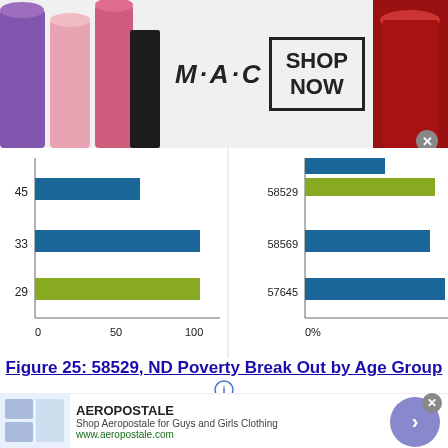[Figure (other): MAC cosmetics advertisement banner with lipsticks and SHOP NOW box]
[Figure (bar-chart): Horizontal bar chart showing poverty breakdown by age group for zip codes 58529, 58569, 57645. Left panel shows count bars (0-100), right panel shows percentage bars (0%). Y-axis labels: 45, 33, 29 on left; 58529, 58569, 57645 on right. Blue and green bars visible.]
Figure 25: 58529, ND Poverty Break Out by Age Group
[Figure (other): Legend showing: Poverty Under 12 Years (dark blue), Poverty 12 to 17 years (medium blue), Poverty 18 to 34 years (lighter blue), Poverty 55 to 64 years (light blue), Poverty 65+ years (dark blue)]
[Figure (other): Aeropostale advertisement banner]